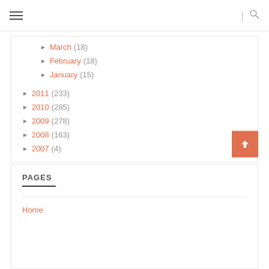Navigation header with hamburger menu and search icon
► March (18)
► February (18)
► January (15)
► 2011 (233)
► 2010 (285)
► 2009 (278)
► 2008 (163)
► 2007 (4)
PAGES
Home